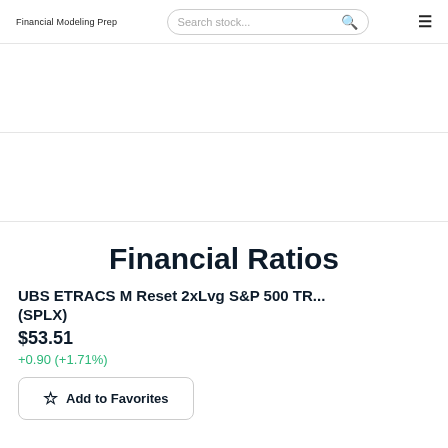Financial Modeling Prep
Financial Ratios
UBS ETRACS M Reset 2xLvg S&P 500 TR... (SPLX)
$53.51
+0.90 (+1.71%)